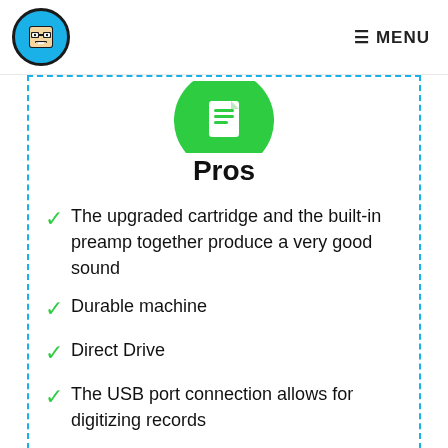MENU
[Figure (illustration): Green circle with white document/music note icon — pros indicator]
Pros
The upgraded cartridge and the built-in preamp together produce a very good sound
Durable machine
Direct Drive
The USB port connection allows for digitizing records